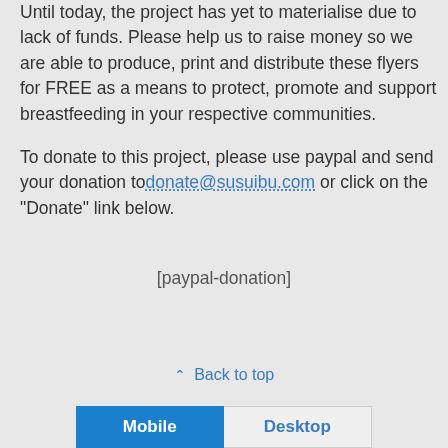Until today, the project has yet to materialise due to lack of funds. Please help us to raise money so we are able to produce, print and distribute these flyers for FREE as a means to protect, promote and support breastfeeding in your respective communities.
To donate to this project, please use paypal and send your donation to donate@susuibu.com or click on the “Donate” link below.
[paypal-donation]
⌃ Back to top
Mobile  Desktop